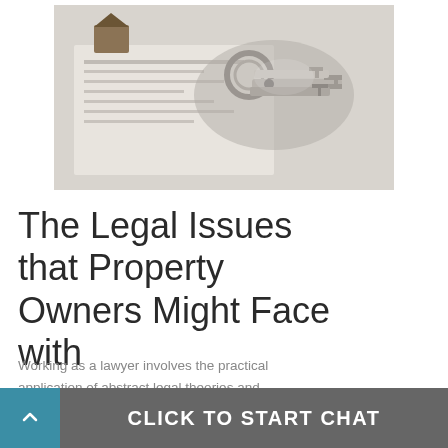[Figure (photo): A photograph of house keys and a ring of keys resting on top of documents/blueprints, suggesting real estate or property matters.]
The Legal Issues that Property Owners Might Face with
Working as a lawyer involves the practical application of abstract legal theories and knowledge to solve specific individualized problems, or to advance the interests of
CLICK TO START CHAT